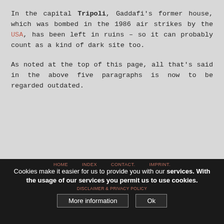In the capital Tripoli, Gaddafi's former house, which was bombed in the 1986 air strikes by the USA, has been left in ruins – so it can probably count as a kind of dark site too.
As noted at the top of this page, all that's said in the above five paragraphs is now to be regarded outdated.
HOME  INDEX  CONTACT.  IMPRINT.  Cookies make it easier for us to provide you with our services. With the usage of our services you permit us to use cookies.  DISCLAIMER & PRIVACY POLICY  More information  Ok